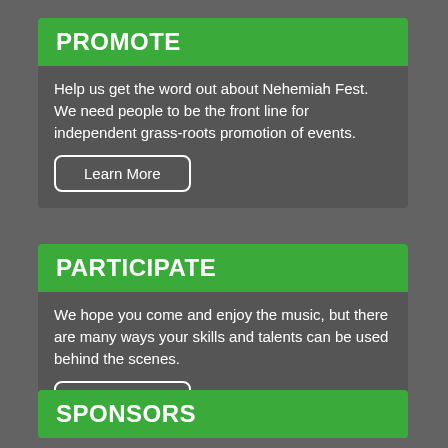PROMOTE
Help us get the word out about Nehemiah Fest. We need people to be the front line for independent grass-roots promotion of events.
Learn More
PARTICIPATE
We hope you come and enjoy the music, but there are many ways your skills and talents can be used behind the scenes.
Learn More
SPONSORS